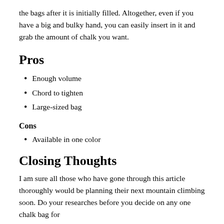the bags after it is initially filled. Altogether, even if you have a big and bulky hand, you can easily insert in it and grab the amount of chalk you want.
Pros
Enough volume
Chord to tighten
Large-sized bag
Cons
Available in one color
Closing Thoughts
I am sure all those who have gone through this article thoroughly would be planning their next mountain climbing soon. Do your researches before you decide on any one chalk bag for